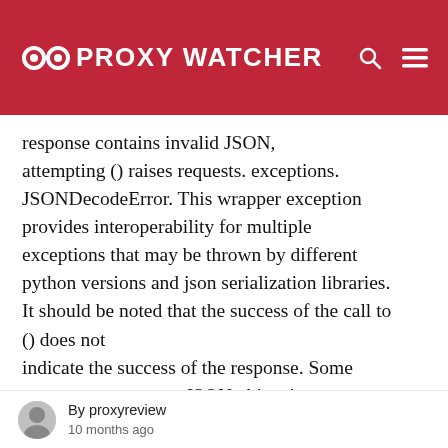PROXY WATCHER
response contains invalid JSON, attempting () raises requests. exceptions. JSONDecodeError. This wrapper exception provides interoperability for multiple exceptions that may be thrown by different python versions and json serialization libraries. It should be noted that the success of the call to () does not indicate the success of the response. Some servers may return a JSON object in a failed response (e.g. error details with HTTP
By proxyreview
10 months ago